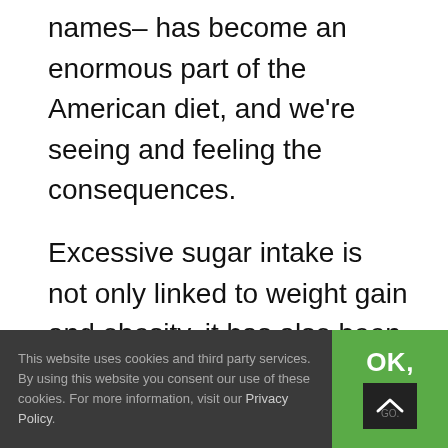names– has become an enormous part of the American diet, and we're seeing and feeling the consequences.
Excessive sugar intake is not only linked to weight gain and obesity, it has also been proven to contribute to type 2 diabetes, cardiovascular disease, cancer,
This website uses cookies and third party services. By using this website you consent our use of these cookies. For more information, visit our Privacy Policy.